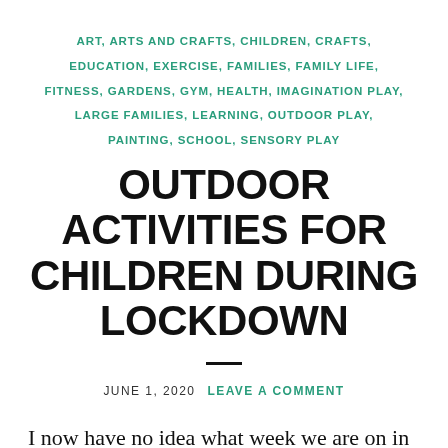ART, ARTS AND CRAFTS, CHILDREN, CRAFTS, EDUCATION, EXERCISE, FAMILIES, FAMILY LIFE, FITNESS, GARDENS, GYM, HEALTH, IMAGINATION PLAY, LARGE FAMILIES, LEARNING, OUTDOOR PLAY, PAINTING, SCHOOL, SENSORY PLAY
OUTDOOR ACTIVITIES FOR CHILDREN DURING LOCKDOWN
JUNE 1, 2020   LEAVE A COMMENT
I now have no idea what week we are on in lockdown but I do know that during this time